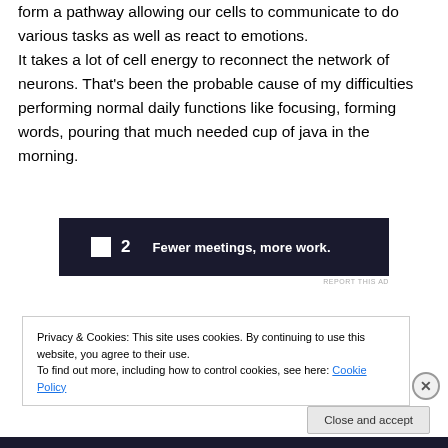form a pathway allowing our cells to communicate to do various tasks as well as react to emotions. It takes a lot of cell energy to reconnect the network of neurons. That's been the probable cause of my difficulties performing normal daily functions like focusing, forming words, pouring that much needed cup of java in the morning.
[Figure (other): Advertisement banner: dark navy background with Plan logo (square icon and '2') and tagline 'Fewer meetings, more work.']
REPORT THIS AD
Privacy & Cookies: This site uses cookies. By continuing to use this website, you agree to their use.
To find out more, including how to control cookies, see here: Cookie Policy
Close and accept